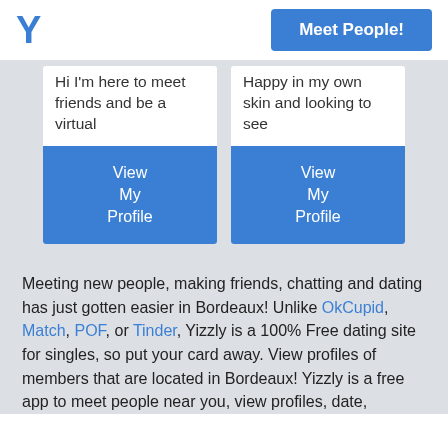Y
Meet People!
Hi I'm here to meet friends and be a virtual
View My Profile
Happy in my own skin and looking to see
View My Profile
Meeting new people, making friends, chatting and dating has just gotten easier in Bordeaux! Unlike OkCupid, Match, POF, or Tinder, Yizzly is a 100% Free dating site for singles, so put your card away. View profiles of members that are located in Bordeaux! Yizzly is a free app to meet people near you, view profiles, date,